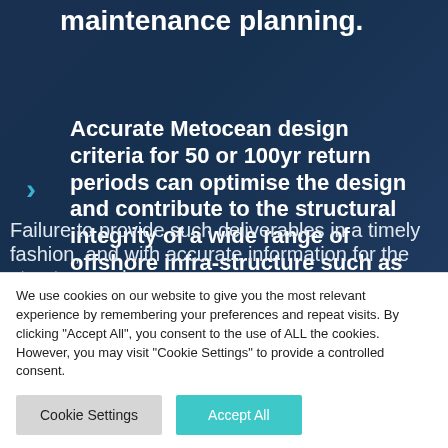maintenance planning.
Accurate Metocean design criteria for 50 or 100yr return periods can optimise the design and contribute to the structural integrity of a wide range of offshore infra-structure such as wind turbines and oil and gas installations.
Failure to provide such deliverables in a timely fashion, and with accurate information for the structure and...
We use cookies on our website to give you the most relevant experience by remembering your preferences and repeat visits. By clicking "Accept All", you consent to the use of ALL the cookies. However, you may visit "Cookie Settings" to provide a controlled consent.